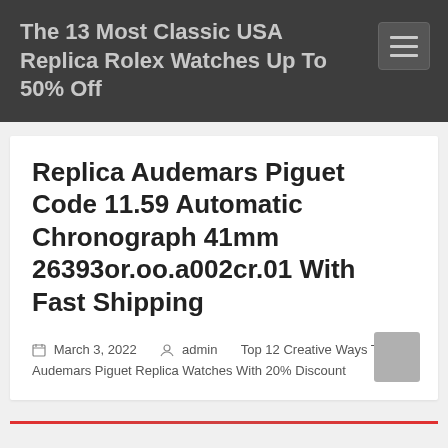The 13 Most Classic USA Replica Rolex Watches Up To 50% Off
Replica Audemars Piguet Code 11.59 Automatic Chronograph 41mm 26393or.oo.a002cr.01 With Fast Shipping
March 3, 2022   admin   Top 12 Creative Ways To Buy Audemars Piguet Replica Watches With 20% Discount